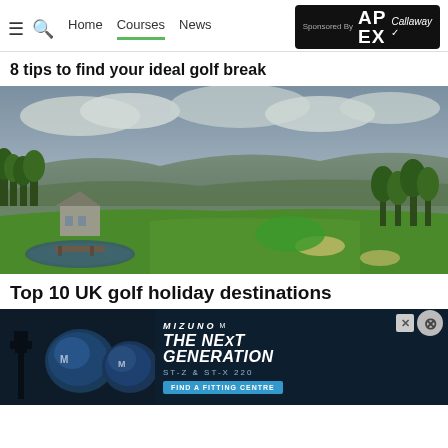☰🔍 Home  Courses  News  Sponsored By APEX Callaway
8 tips to find your ideal golf break
[Figure (photo): Aerial view of a Scottish golf course with green fairways, a stone bridge, pond, trees and hills in the background under a cloudy sky]
Top 10 UK golf holiday destinations
[Figure (photo): Mizuno advertisement banner showing two golf club drivers with text 'THE NEXT GENERATION ST-Z & ST-X 220' and a 'FIND A FITTING CENTRE' button]